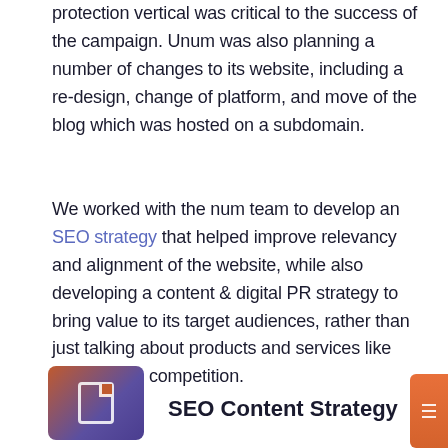protection vertical was critical to the success of the campaign. Unum was also planning a number of changes to its website, including a re-design, change of platform, and move of the blog which was hosted on a subdomain.
We worked with the num team to develop an SEO strategy that helped improve relevancy and alignment of the website, while also developing a content & digital PR strategy to bring value to its target audiences, rather than just talking about products and services like much of the competition.
SEO Content Strategy